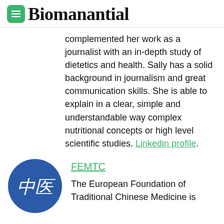Biomanantial
complemented her work as a journalist with an in-depth study of dietetics and health. Sally has a solid background in journalism and great communication skills. She is able to explain in a clear, simple and understandable way complex nutritional concepts or high level scientific studies. Linkedin profile.
[Figure (logo): Blue circle with Chinese characters 中医 in white italic text]
FEMTC
The European Foundation of Traditional Chinese Medicine is